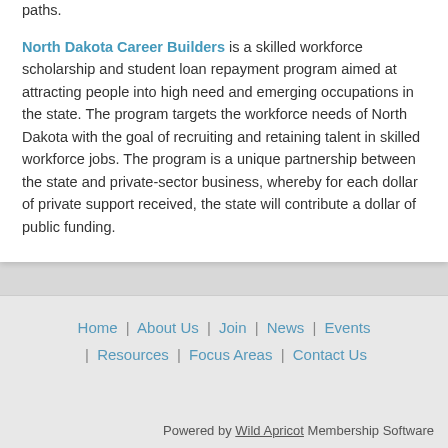paths.
North Dakota Career Builders is a skilled workforce scholarship and student loan repayment program aimed at attracting people into high need and emerging occupations in the state. The program targets the workforce needs of North Dakota with the goal of recruiting and retaining talent in skilled workforce jobs. The program is a unique partnership between the state and private-sector business, whereby for each dollar of private support received, the state will contribute a dollar of public funding.
Home | About Us | Join | News | Events | Resources | Focus Areas | Contact Us
Powered by Wild Apricot Membership Software